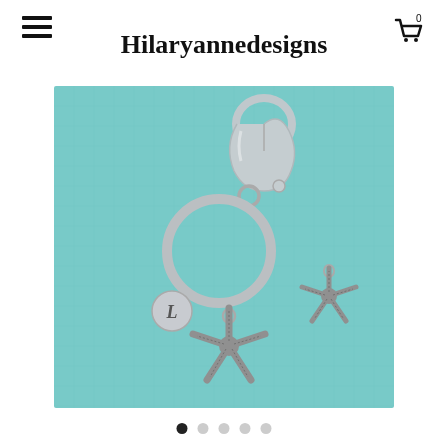Hilaryannedesigns
[Figure (photo): Product photo of a starfish keychain with initial 'L' charm on a teal/light blue background. Shows a silver lobster claw clasp, key ring, a round disc charm with letter L, a large starfish charm, and a separate smaller starfish charm.]
• ○ ○ ○ ○ (image carousel dots)